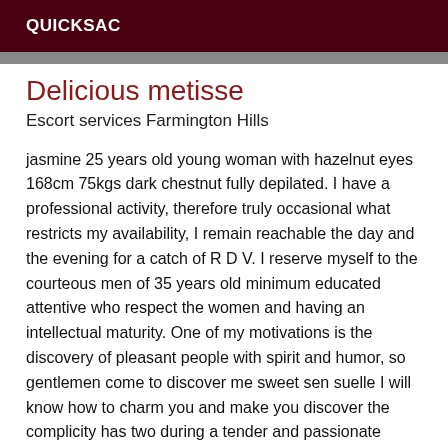QUICKSAC
Delicious metisse
Escort services Farmington Hills
jasmine 25 years old young woman with hazelnut eyes 168cm 75kgs dark chestnut fully depilated. I have a professional activity, therefore truly occasional what restricts my availability, I remain reachable the day and the evening for a catch of R D V. I reserve myself to the courteous men of 35 years old minimum educated attentive who respect the women and having an intellectual maturity. One of my motivations is the discovery of pleasant people with spirit and humor, so gentlemen come to discover me sweet sen suelle I will know how to charm you and make you discover the complicity has two during a tender and passionate moment where sexuality and good humor are intertwined. This meeting will be of quality and unforgettable I will come this moment to your choice in